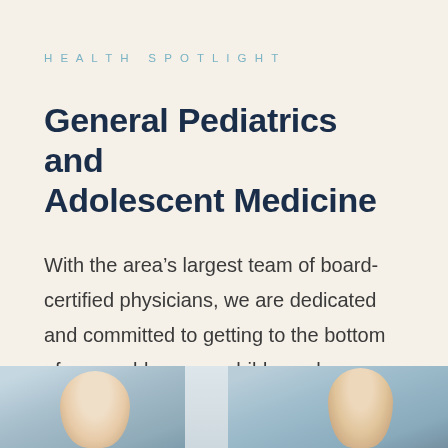HEALTH SPOTLIGHT
General Pediatrics and Adolescent Medicine
With the area’s largest team of board-certified physicians, we are dedicated and committed to getting to the bottom of any problem your child may have.
[Figure (photo): Partial view of two people (physicians or patients) photographed from the chest/shoulders up, cropped at the bottom of the page.]